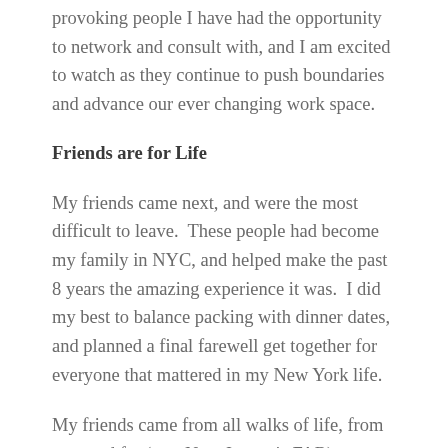provoking people I have had the opportunity to network and consult with, and I am excited to watch as they continue to push boundaries and advance our ever changing work space.
Friends are for Life
My friends came next, and were the most difficult to leave.  These people had become my family in NYC, and helped make the past 8 years the amazing experience it was.  I did my best to balance packing with dinner dates, and planned a final farewell get together for everyone that mattered in my New York life.
My friends came from all walks of life, from near and far (yes, New Jersey is FAR), to show their love and support.  I don't think I can put into words how grateful